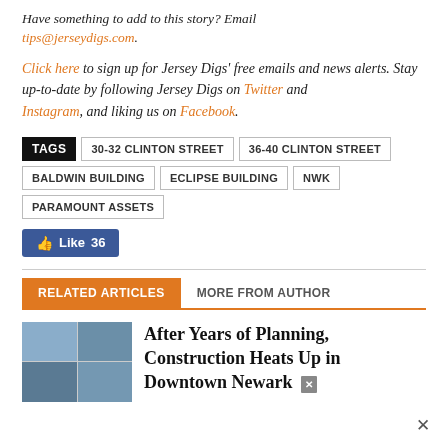Have something to add to this story? Email tips@jerseydigs.com.
Click here to sign up for Jersey Digs' free emails and news alerts. Stay up-to-date by following Jersey Digs on Twitter and Instagram, and liking us on Facebook.
TAGS  30-32 CLINTON STREET  36-40 CLINTON STREET  BALDWIN BUILDING  ECLIPSE BUILDING  NWK  PARAMOUNT ASSETS
Like 36
RELATED ARTICLES  MORE FROM AUTHOR
After Years of Planning, Construction Heats Up in Downtown Newark